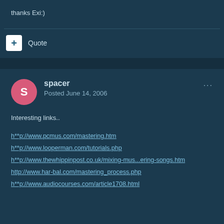thanks Exi:)
Quote
spacer
Posted June 14, 2006
Interesting links..
h**p://www.pcmus.com/mastering.htm
h**p://www.looperman.com/tutorials.php
h**p://www.thewhippinpost.co.uk/mixing-mus...ering-songs.htm
http://www.har-bal.com/mastering_process.php
h**p://www.audiocourses.com/article1708.html